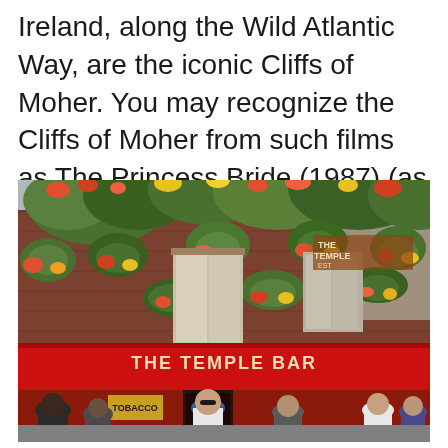Ireland, along the Wild Atlantic Way, are the iconic Cliffs of Moher. You may recognize the Cliffs of Moher from such films as The Princess Bride (1987) (as the filming …
[Figure (photo): Photo of The Temple Bar pub in Dublin, Ireland. A red-fronted pub building covered in colorful flower baskets and lush green ivy/foliage. A large yellow sign reads 'THE TEMPLE BAR'. Crowds of people are gathered on the street in front of the building.]